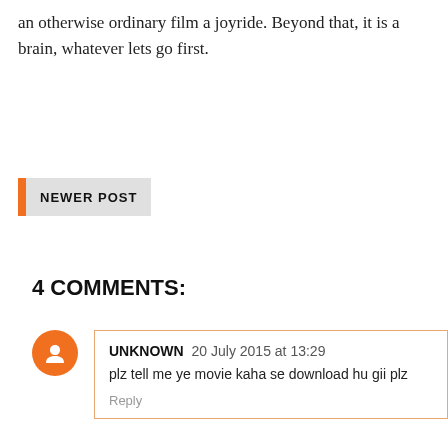an otherwise ordinary film a joyride. Beyond that, it is a brain, whatever lets go first.
NEWER POST
4 COMMENTS:
UNKNOWN 20 July 2015 at 13:29
plz tell me ye movie kaha se download hu gii plz
Reply